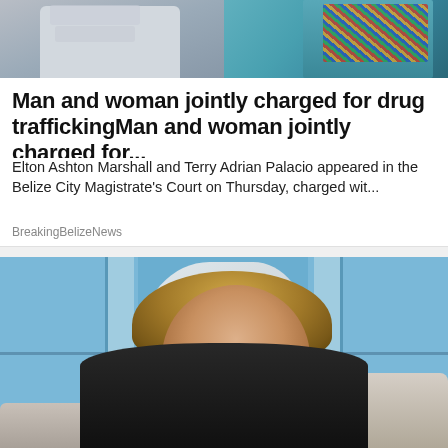[Figure (photo): Two people side by side — left person in a light grey shirt, right person in a colorful patterned top with teal/blue background]
Man and woman jointly charged for drug traffickingMan and woman jointly charged for...
Elton Ashton Marshall and Terry Adrian Palacio appeared in the Belize City Magistrate's Court on Thursday, charged wit...
BreakingBelizeNews
[Figure (photo): A blonde woman in a black outfit seated on a white sofa in a TV studio setting with blue window panels and white floral backdrop decor, resting her chin on her hand and smiling]